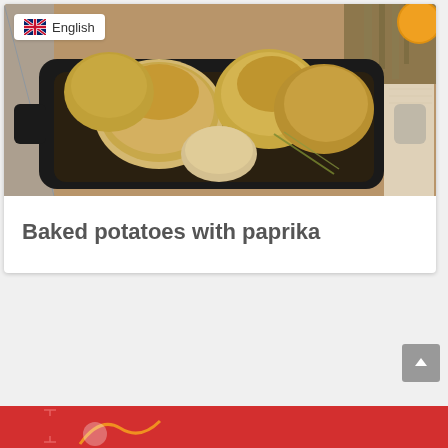[Figure (photo): Photo of baked potatoes with paprika in a black cast iron baking dish, with herbs and an orange in the background. An English flag language badge is overlaid in the top left corner.]
Baked potatoes with paprika
[Figure (other): Red banner footer strip partially visible at the bottom of the page, with a scroll-to-top button (grey square with upward chevron) in the bottom right area.]